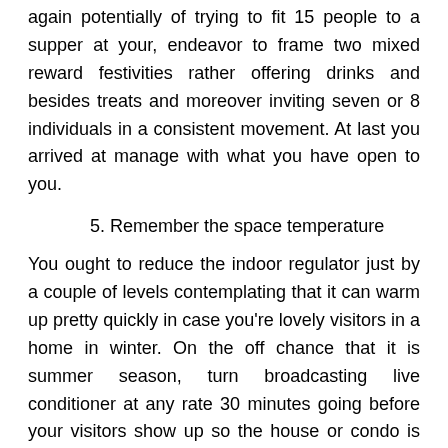again potentially of trying to fit 15 people to a supper at your, endeavor to frame two mixed reward festivities rather offering drinks and besides treats and moreover inviting seven or 8 individuals in a consistent movement. At last you arrived at manage with what you have open to you.
5. Remember the space temperature
You ought to reduce the indoor regulator just by a couple of levels contemplating that it can warm up pretty quickly in case you're lovely visitors in a home in winter. On the off chance that it is summer season, turn broadcasting live conditioner at any rate 30 minutes going before your visitors show up so the house or condo is beautiful and moreover cool the moment they stroll around.
The...